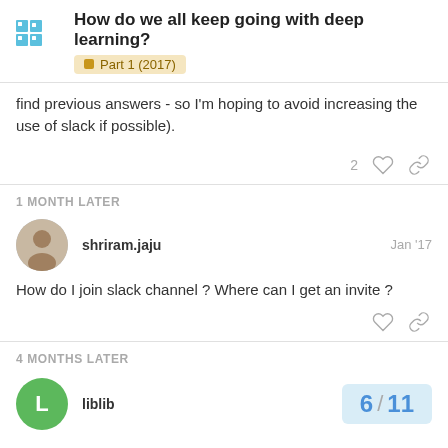How do we all keep going with deep learning? Part 1 (2017)
find previous answers - so I'm hoping to avoid increasing the use of slack if possible).
1 MONTH LATER
shriram.jaju  Jan '17
How do I join slack channel ? Where can I get an invite ?
4 MONTHS LATER
liblib  6 / 11